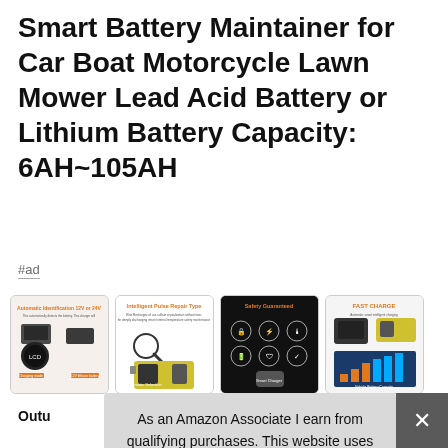Smart Battery Maintainer for Car Boat Motorcycle Lawn Mower Lead Acid Battery or Lithium Battery Capacity: 6AH~105AH
#ad
[Figure (photo): Four product images showing smart battery maintainer/charger product features: automatic identification, intelligent pulse repair type, safety guaranteed, and fast charge.]
Outu
As an Amazon Associate I earn from qualifying purchases. This website uses the only necessary cookies to ensure you get the best experience on our website. More information